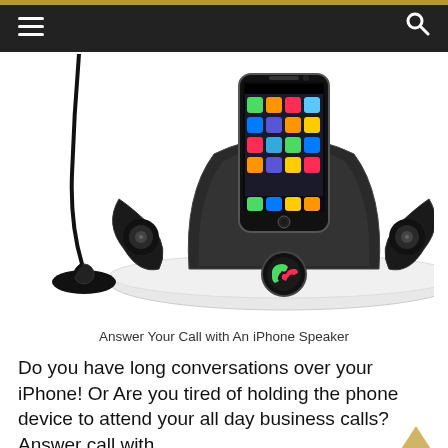≡  🔍
[Figure (photo): iPhone docked in a conference speaker system with a separate microphone on a stand. The speaker dock has two satellite speakers on either side and a call control button in the center. An iPhone is docked upright in the center showing its app screen.]
Answer Your Call with An iPhone Speaker
Do you have long conversations over your iPhone! Or Are you tired of holding the phone device to attend your all day business calls? Answer call with